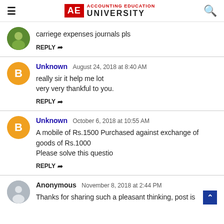AE ACCOUNTING EDUCATION UNIVERSITY
carriege expenses journals pls
REPLY
Unknown  August 24, 2018 at 8:40 AM
really sir it help me lot
very very thankful to you.
REPLY
Unknown  October 6, 2018 at 10:55 AM
A mobile of Rs.1500 Purchased against exchange of goods of Rs.1000
Please solve this questio
REPLY
Anonymous  November 8, 2018 at 2:44 PM
Thanks for sharing such a pleasant thinking, post is